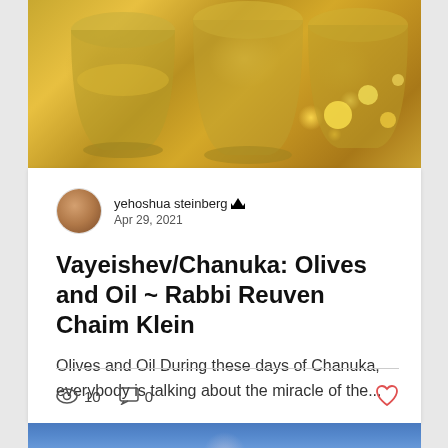[Figure (photo): Close-up photo of glasses or jars filled with golden olive oil on a golden/amber background]
yehoshua steinberg 👑 Apr 29, 2021
Vayeishev/Chanuka: Olives and Oil ~ Rabbi Reuven Chaim Klein
Olives and Oil During these days of Chanuka, everybody is talking about the miracle of the...
👁 10   💬 0   ♥
[Figure (photo): Partial blue-toned photo at bottom of page]